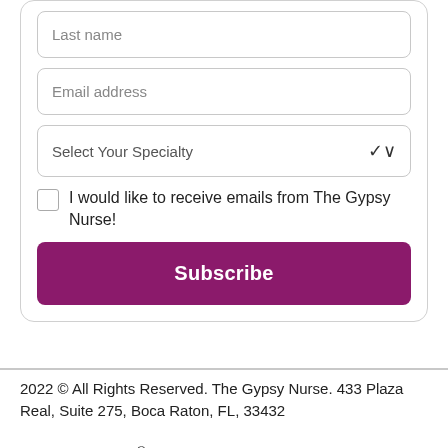Last name
Email address
Select Your Specialty
I would like to receive emails from The Gypsy Nurse!
Subscribe
2022 © All Rights Reserved. The Gypsy Nurse. 433 Plaza Real, Suite 275, Boca Raton, FL, 33432

The Gypsy Nurse® is a registered trademark of TGN Community, LLC and The Gypsy Nurse logo is a trademark of